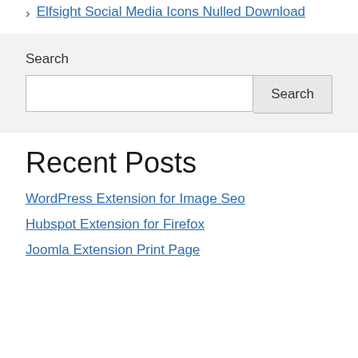Elfsight Social Media Icons Nulled Download
Search
Search [input] Search [button]
Recent Posts
WordPress Extension for Image Seo
Hubspot Extension for Firefox
Joomla Extension Print Page